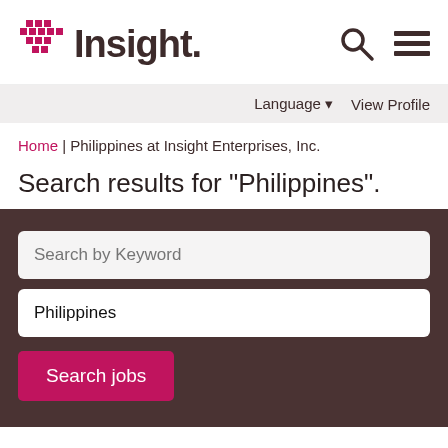[Figure (logo): Insight company logo with pink cross/plus icon and dark brown 'Insight.' text, with search and menu icons on the right]
Language ▼  View Profile
Home | Philippines at Insight Enterprises, Inc.
Search results for "Philippines".
Search by Keyword
Philippines
Search jobs